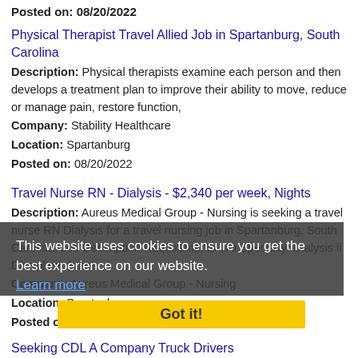Posted on: 08/20/2022
Physical Therapist Travel Allied Job in Spartanburg, South Carolina
Description: Physical therapists examine each person and then develops a treatment plan to improve their ability to move, reduce or manage pain, restore function,
Company: Stability Healthcare
Location: Spartanburg
Posted on: 08/20/2022
Travel Nurse RN - Dialysis - $2,340 per week, Nights
Description: Aureus Medical Group - Nursing is seeking a travel nurse RN Dialysis for a travel nursing job in Spartanburg, South Carolina. Job Description Requirements ul li Specialty: Dialysis li Discipline: (more...)
Company: Aureus Medical Group - Nursing
Location: Spartanburg
Posted on: 08/20/2022
Seeking CDL A Company Truck Drivers
Description: Hiring CDL Company Drivers in Spartanburg, SC. Apply once and choose a trucking job that works for you. Get home when you want to, and get paid what you deserve br Available Trucking